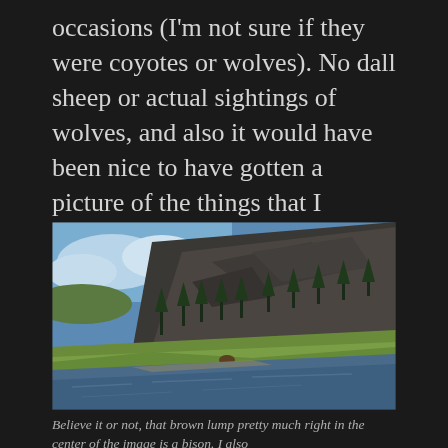occasions (I'm not sure if they were coyotes or wolves). No dall sheep or actual sightings of wolves, and also it would have been nice to have gotten a picture of the things that I thought might be pronghorn.  If I'd gotten those squares on my megafauna bingo card, Yellowstone would have rated five out of five.
[Figure (photo): Landscape photograph showing a river in the foreground with green grassy banks, a large rocky mountain hillside with scattered evergreen trees in the background, and blue sky with a few clouds above. Located in what appears to be Yellowstone National Park.]
Believe it or not, that brown lump pretty much right in the center of the image is a bison. I also